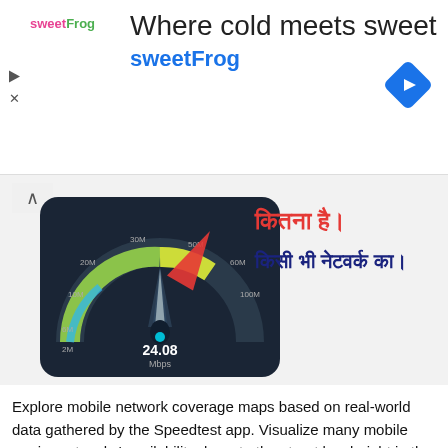[Figure (screenshot): Advertisement banner for sweetFrog frozen yogurt. Shows 'Where cold meets sweet' headline in dark text, 'sweetFrog' subtext in blue, sweetFrog logo on left, and a blue diamond navigation icon on the right. Ad controls (play and X) on far left.]
[Figure (screenshot): Speed test app screenshot showing a speedometer gauge reading 24.08 Mbps with a red arrow pointing to it. Hindi text on the right reads 'कितना है।' in red and 'किसी भी नेटवर्क का।' in blue. A chevron/up arrow is at the top left.]
Explore mobile network coverage maps based on real-world data gathered by the Speedtest app. Visualize many mobile carrier networks' availability down to the street level, right in the app.
Keep your online connection private and secure with Speedtest VPN™. Use up to 2GB of data over VPN per month for free, or go Premium with unlimited usage for only $1.99/month.